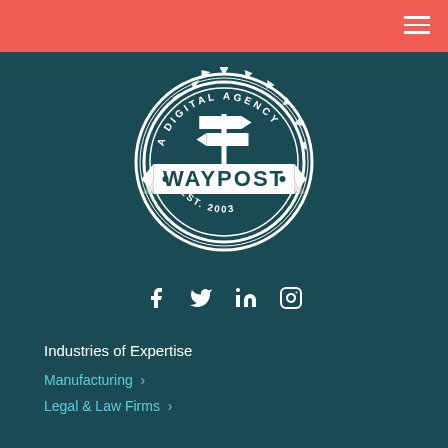Waypost Digital Agency navigation header
[Figure (logo): Waypost digital agency badge logo — circular gear/badge shape with text 'A DIGITAL AGENCY' arched at top, signpost icon in center, 'WAYPOST' in large bold text on banner, 'EST. 2003' at bottom, all in white on dark teal background]
[Figure (infographic): Social media icons: Facebook (f), Twitter (bird), LinkedIn (in), Instagram (camera) — all white on dark teal]
Industries of Expertise
Manufacturing ›
Legal & Law Firms ›